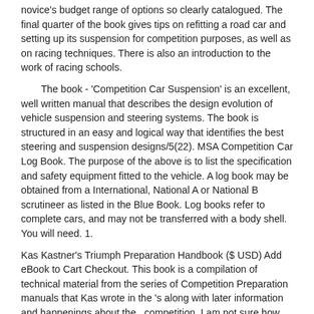novice's budget range of options so clearly catalogued. The final quarter of the book gives tips on refitting a road car and setting up its suspension for competition purposes, as well as on racing techniques. There is also an introduction to the work of racing schools.
The book - 'Competition Car Suspension' is an excellent, well written manual that describes the design evolution of vehicle suspension and steering systems. The book is structured in an easy and logical way that identifies the best steering and suspension designs/5(22). MSA Competition Car Log Book. The purpose of the above is to list the specification and safety equipment fitted to the vehicle. A log book may be obtained from a International, National A or National B scrutineer as listed in the Blue Book. Log books refer to complete cars, and may not be transferred with a body shell. You will need. 1.
Kas Kastner's Triumph Preparation Handbook ($ USD) Add eBook to Cart Checkout. This book is a compilation of technical material from the series of Competition Preparation manuals that Kas wrote in the 's along with later information and happenings about the . competition. I am not sure how other parts of the country run their Concours. However what I am going to talk about is pretty universal as far as prepping your car for the first time. I am going to give you the simple approach to get you started. After you have prepped your File Size: 38KB.
Available for Download
Download PDF